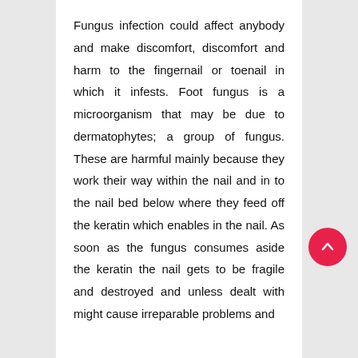Fungus infection could affect anybody and make discomfort, discomfort and harm to the fingernail or toenail in which it infests. Foot fungus is a microorganism that may be due to dermatophytes; a group of fungus. These are harmful mainly because they work their way within the nail and in to the nail bed below where they feed off the keratin which enables in the nail. As soon as the fungus consumes aside the keratin the nail gets to be fragile and destroyed and unless dealt with might cause irreparable problems and